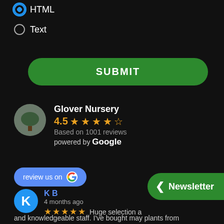HTML (selected radio)
Text
SUBMIT
Glover Nursery
4.5 — Based on 1001 reviews — powered by Google
review us on Google
K B
4 months ago
Huge selection a
and knowledgeable staff. I've bought may plants from
Newsletter